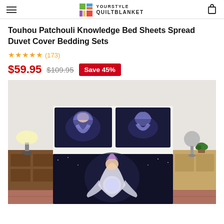YOURSTYLE QUILTBLANKET
Touhou Patchouli Knowledge Bed Sheets Spread Duvet Cover Bedding Sets
★★★★★ (173)
$59.95  $109.95  Save 45%
[Figure (photo): Product photo showing an anime-themed bedding set with two pillowcases and a fitted sheet featuring a dark fantasy anime character (Patchouli Knowledge from Touhou), displayed on a bed with wooden nightstands and lamps on both sides.]